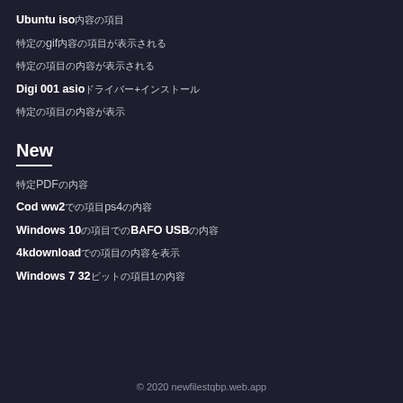Ubuntu iso内容の項目
特定のgif内容の項目が表示される
特定の項目の内容が表示される
Digi 001 asioドライバー+インストール
特定の項目の内容が表示
New
特定PDFの内容
Cod ww2での項目ps4の内容
Windows 10の項目でのBAFO USBの内容
4kdownloadでの項目の内容を表示
Windows 7 32ビットの項目1の内容
© 2020 newfilestqbp.web.app